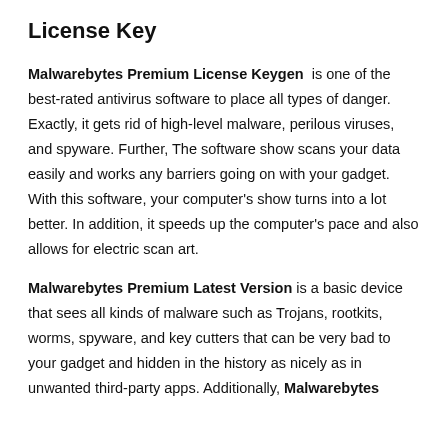License Key
Malwarebytes Premium License Keygen is one of the best-rated antivirus software to place all types of danger. Exactly, it gets rid of high-level malware, perilous viruses, and spyware. Further, The software show scans your data easily and works any barriers going on with your gadget. With this software, your computer's show turns into a lot better. In addition, it speeds up the computer's pace and also allows for electric scan art.
Malwarebytes Premium Latest Version is a basic device that sees all kinds of malware such as Trojans, rootkits, worms, spyware, and key cutters that can be very bad to your gadget and hidden in the history as nicely as in unwanted third-party apps. Additionally, Malwarebytes